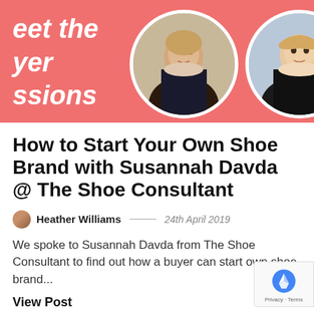[Figure (photo): Banner image with coral/salmon background showing two circular portrait photos of women and partial text 'eet the yer ssions' in white italic bold font on the left]
How to Start Your Own Shoe Brand with Susannah Davda @ The Shoe Consultant
Heather Williams — 24th April 2019
We spoke to Susannah Davda from The Shoe Consultant to find out how a buyer can start own shoe brand...
View Post